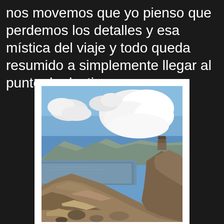nos movemos que yo pienso que perdemos los detalles y esa mística del viaje y todo queda resumido a simplemente llegar al punto de destino.
[Figure (photo): Landscape photograph showing a rocky hillside in the foreground with a calm lake or reservoir in the middle ground, mountains in the background, and a dramatic blue sky with large white clouds. A small stone structure is visible on the rocky cliff to the right.]